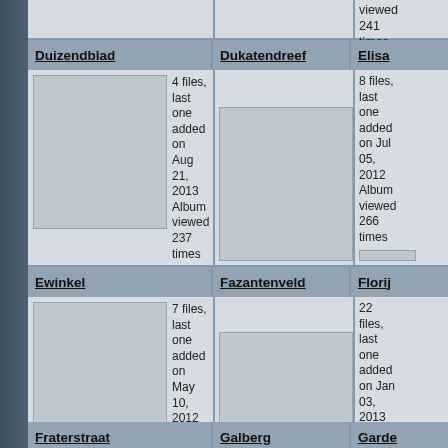viewed 241 times
Duizendblad
Dukatendreef
Elisa...
4 files, last one added on Aug 21, 2013 Album viewed 237 times
8 files, last one added on Jul 05, 2012 Album viewed 266 times
Ewinkel
Fazantenveld
Florij...
7 files, last one added on May 10, 2012 Album viewed 260 times
22 files, last one added on Jan 03, 2013 Album viewed 324 times
Fraterstraat
Galberg
Garde...
15 files, last one added on...
8 files, last one...